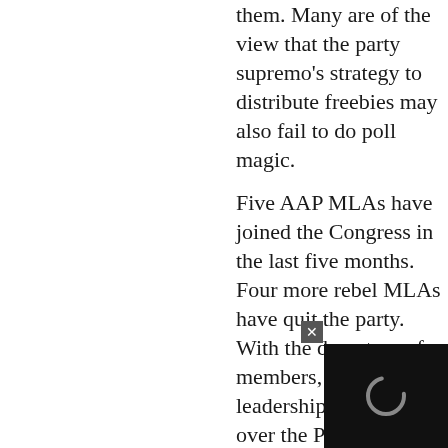them. Many are of the view that the party supremo's strategy to distribute freebies may also fail to do poll magic.
Five AAP MLAs have joined the Congress in the last five months. Four more rebel MLAs have quit the party. With the departure of members, AAP's Delhi leadership has taken over the Punjab front. AAP's national convener and Delhi Chief Minister Arvind Kejriwal have visited the state seven times...